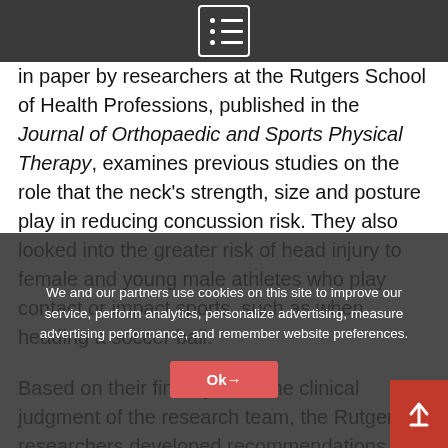[Navigation bar with hamburger menu icon]
in paper by researchers at the Rutgers School of Health Professions, published in the Journal of Orthopaedic and Sports Physical Therapy, examines previous studies on the role that the neck's strength, size and posture play in reducing concussion risk. They also looked into the greater risk of head injury to female and young male athletes who play contact or impact sports, such as when heading a soccer ball.
Based on their findings and the clinical judgment of the research team, the Rutgers researchers developed recommendations that physical therapists and athletic trainers can use to protect athletes.
These include performing a thorough cervical spine assessment as part of the pre-athletic participation exam, screening for pain because baseline reports of neck pain have been associated with increased concussion risk in
We and our partners use cookies on this site to improve our service, perform analytics, personalize advertising, measure advertising performance, and remember website preferences.